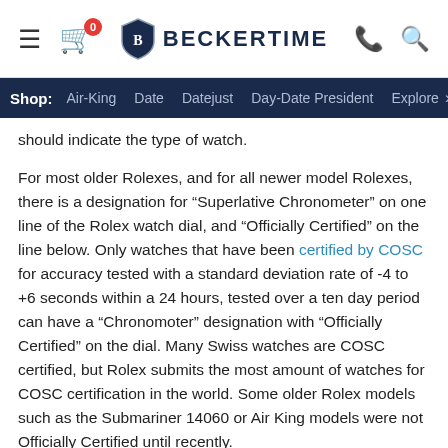BECKERTIME
Shop: Air-King  Date  Datejust  Day-Date President  Explore >
should indicate the type of watch.
For most older Rolexes, and for all newer model Rolexes, there is a designation for “Superlative Chronometer” on one line of the Rolex watch dial, and “Officially Certified” on the line below. Only watches that have been certified by COSC for accuracy tested with a standard deviation rate of -4 to +6 seconds within a 24 hours, tested over a ten day period can have a “Chronomoter” designation with “Officially Certified” on the dial. Many Swiss watches are COSC certified, but Rolex submits the most amount of watches for COSC certification in the world. Some older Rolex models such as the Submariner 14060 or Air King models were not Officially Certified until recently.
Swiss vs Swiss Made vs Swiss T vs T Swiss T vs…